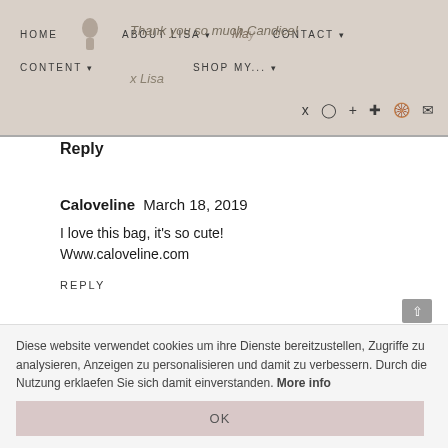HOME   ABOUT LISA ▾   CONTACT ▾
CONTENT ▾   SHOP MY... ▾
Thank you so much Candice!

x Lisa
Reply
Caloveline   March 18, 2019
I love this bag, it's so cute!
Www.caloveline.com
REPLY
▾  Replies
Diese website verwendet cookies um ihre Dienste bereitzustellen, Zugriffe zu analysieren, Anzeigen zu personalisieren und damit zu verbessern. Durch die Nutzung erklaefen Sie sich damit einverstanden. More info
OK